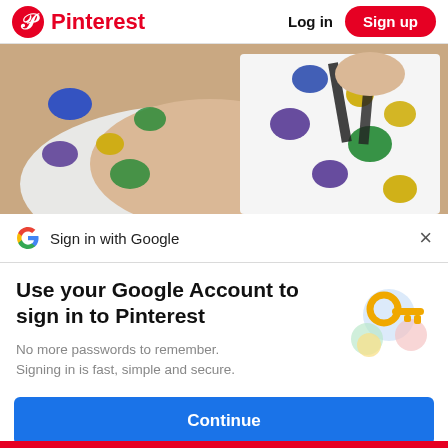Pinterest  Log in  Sign up
[Figure (photo): Child's hands painting colorful shapes on white canvas with blue, yellow, green and purple paint]
Sign in with Google
Use your Google Account to sign in to Pinterest
No more passwords to remember. Signing in is fast, simple and secure.
[Figure (illustration): Google sign-in illustration with a golden key and colorful circular shapes]
Continue